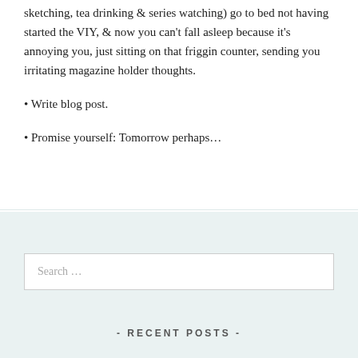sketching, tea drinking & series watching) go to bed not having started the VIY, & now you can't fall asleep because it's annoying you, just sitting on that friggin counter, sending you irritating magazine holder thoughts.
• Write blog post.
• Promise yourself: Tomorrow perhaps…
Search …
- RECENT POSTS -